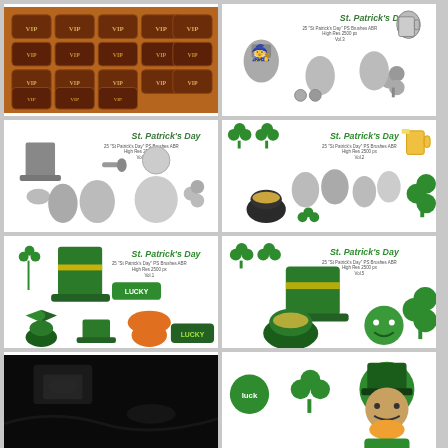[Figure (illustration): Grid of dark brown/maroon VIP cards/passes arranged in rows, multiple VIP branded cards visible]
[Figure (illustration): St. Patrick's Day Photoshop Brushes Vol.3 - grayscale leprechaun characters, beer mug, shamrocks, and other Irish themed elements]
[Figure (illustration): St. Patrick's Day Photoshop Brushes Vol.4 - grayscale leprechaun figures, top hat, pipe, coins, and shamrocks with green title text]
[Figure (illustration): St. Patrick's Day Photoshop Brushes Vol.2 - mixed green and grayscale dancing leprechauns, shamrocks, pot of gold, beer mug]
[Figure (illustration): St. Patrick's Day Photoshop Brushes Vol.1 - all green colored elements including top hat, lucky banner, bow tie, pots, shamrocks, orange mustache and beard]
[Figure (illustration): St. Patrick's Day Photoshop Brushes Vol.5 - green elements including hats, shamrocks, pot of gold, leprechaun face]
[Figure (photo): Dark/black background image, appears to be a dark photography or illustration]
[Figure (illustration): St. Patrick's Day themed green leprechaun character with shamrocks on white background, partially visible]